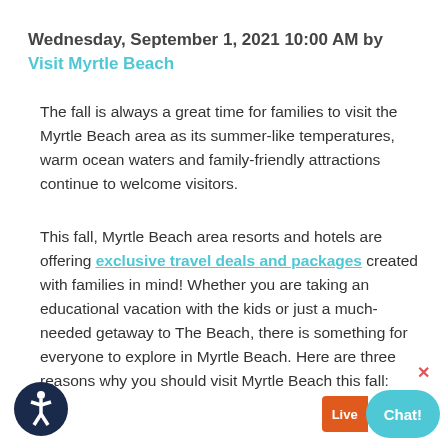Wednesday, September 1, 2021 10:00 AM by Visit Myrtle Beach
The fall is always a great time for families to visit the Myrtle Beach area as its summer-like temperatures, warm ocean waters and family-friendly attractions continue to welcome visitors.
This fall, Myrtle Beach area resorts and hotels are offering exclusive travel deals and packages created with families in mind! Whether you are taking an educational vacation with the kids or just a much-needed getaway to The Beach, there is something for everyone to explore in Myrtle Beach. Here are three reasons why you should visit Myrtle Beach this fall:
[Figure (illustration): Accessibility icon — circular dark navy icon with a person figure in white]
[Figure (illustration): Live Chat button with orange 'Live' label and teal 'Chat!' speech bubble]